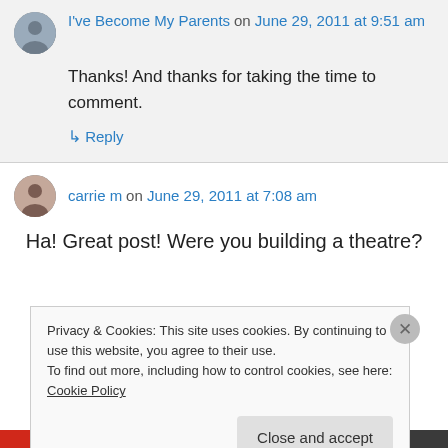I've Become My Parents on June 29, 2011 at 9:51 am
Thanks! And thanks for taking the time to comment.
↳ Reply
carrie m on June 29, 2011 at 7:08 am
Ha! Great post! Were you building a theatre?
Privacy & Cookies: This site uses cookies. By continuing to use this website, you agree to their use.
To find out more, including how to control cookies, see here: Cookie Policy
Close and accept